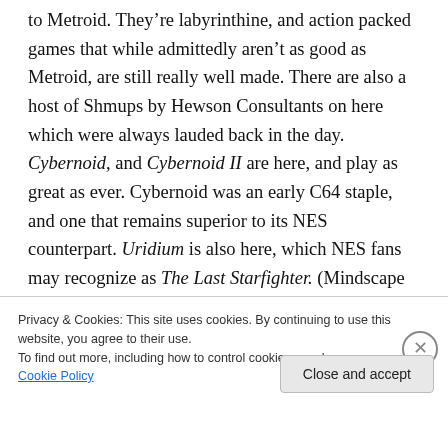to Metroid. They're labyrinthine, and action packed games that while admittedly aren't as good as Metroid, are still really well made. There are also a host of Shmups by Hewson Consultants on here which were always lauded back in the day. Cybernoid, and Cybernoid II are here, and play as great as ever. Cybernoid was an early C64 staple, and one that remains superior to its NES counterpart. Uridium is also here, which NES fans may recognize as The Last Starfighter. (Mindscape re-skinned it, and ported it long after the movie came, and went). They also put the
Privacy & Cookies: This site uses cookies. By continuing to use this website, you agree to their use.
To find out more, including how to control cookies, see here: Cookie Policy
Close and accept